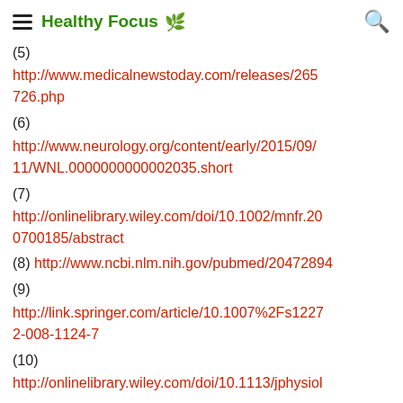Healthy Focus
(5) http://www.medicalnewstoday.com/releases/265726.php
(6) http://www.neurology.org/content/early/2015/09/11/WNL.0000000000002035.short
(7) http://onlinelibrary.wiley.com/doi/10.1002/mnfr.200700185/abstract
(8) http://www.ncbi.nlm.nih.gov/pubmed/20472894
(9) http://link.springer.com/article/10.1007%2Fs12272-008-1124-7
(10) http://onlinelibrary.wiley.com/doi/10.1113/jphysiol...